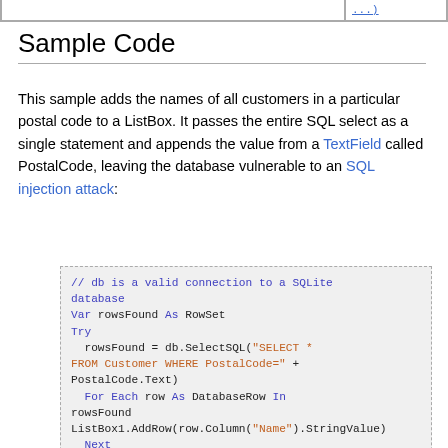|  |  |
| --- | --- |
|  | ...) |
Sample Code
This sample adds the names of all customers in a particular postal code to a ListBox. It passes the entire SQL select as a single statement and appends the value from a TextField called PostalCode, leaving the database vulnerable to an SQL injection attack:
[Figure (screenshot): Code block showing VB/Xojo code for SQL query that passes a TextField value directly into a SQL SELECT statement, vulnerable to SQL injection. Code includes: // db is a valid connection to a SQLite database, Var rowsFound As RowSet, Try, rowsFound = db.SelectSQL("SELECT * FROM Customer WHERE PostalCode=" + PostalCode.Text), For Each row As DatabaseRow In rowsFound, ListBox1.AddRow(row.Column("Name").StringValue), Next, rowsFound.Close, Catch error As DatabaseException, MessageBox("Error: " + error.Message), End Try]